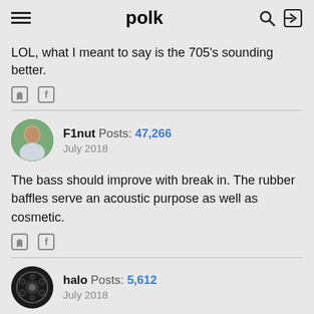polk
LOL, what I meant to say is the 705's sounding better.
F1nut  Posts: 47,266  July 2018
The bass should improve with break in. The rubber baffles serve an acoustic purpose as well as cosmetic.
halo  Posts: 5,612  July 2018
F1nut wrote: